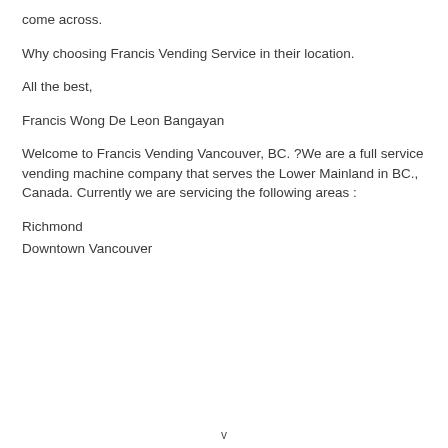come across.
Why choosing Francis Vending Service in their location.
All the best,
Francis Wong De Leon Bangayan
Welcome to Francis Vending Vancouver, BC. ?We are a full service vending machine company that serves the Lower Mainland in BC., Canada. Currently we are servicing the following areas :
Richmond
Downtown Vancouver
v